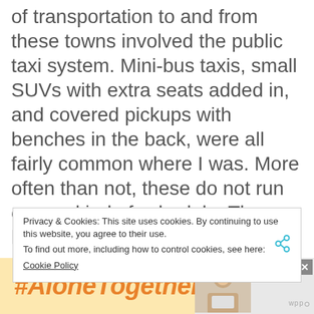of transportation to and from these towns involved the public taxi system. Mini-bus taxis, small SUVs with extra seats added in, and covered pickups with benches in the back, were all fairly common where I was. More often than not, these do not run on any kind of schedule. They leave when they are full. This means two things for the traveler: You've got some time to kill and enjoy the circulation in your legs while you still have it. The waiting game sometimes starts earlier, as you wait for one of these taxis to fill and arrive from
Privacy & Cookies: This site uses cookies. By continuing to use this website, you agree to their use.
To find out more, including how to control cookies, see here:
Cookie Policy
[Figure (other): #AloneTogether advertisement banner with orange italic text and a woman with laptop photo]